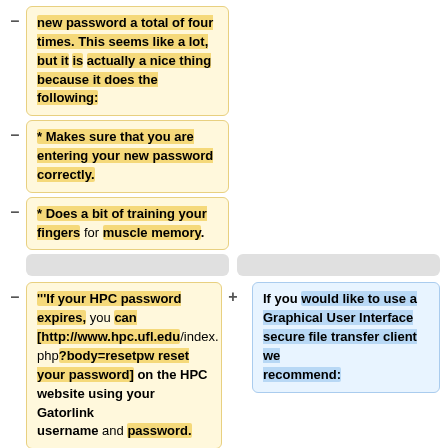new password a total of four times. This seems like a lot, but it is actually a nice thing because it does the following:
* Makes sure that you are entering your new password correctly.
* Does a bit of training your fingers for muscle memory.
'''If your HPC password expires, you can [http://www.hpc.ufl.edu/index.php?body=resetpw reset your password] on the HPC website using your Gatorlink username and password.
If you would like to use a Graphical User Interface secure file transfer client we recommend:
'''
* <s>[https://filezilla-